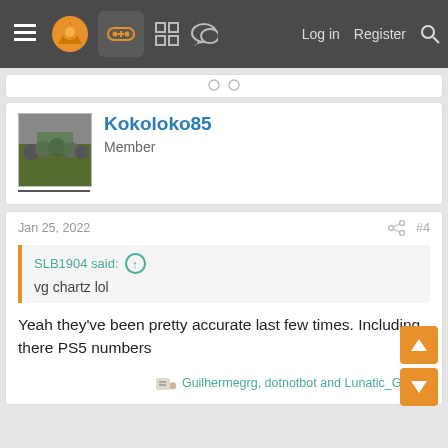Log in  Register
[Figure (screenshot): Forum user avatar for Kokoloko85, small group photo thumbnail]
Kokoloko85
Member
Jan 25, 2022
#4
SLB1904 said:
vg chartz lol
Yeah they've been pretty accurate last few times. Including there PS5 numbers
Guilhermegrg, dotnotbot and Lunatic_Gamer
Banjo64